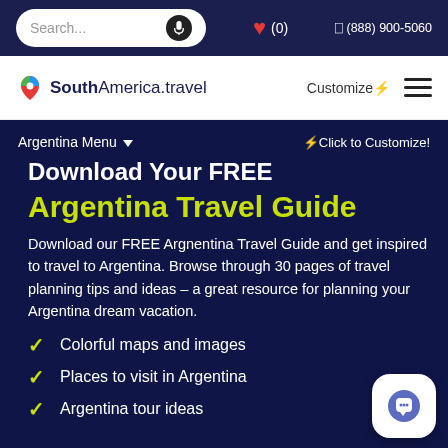Search... ❤ (0)  (888) 900-5060
[Figure (logo): SouthAmerica.travel logo with colorful pin icon]
Customize⚡ ☰
Argentina Menu ▼   ⚡Click to Customize!
Download Your FREE
Argentina Travel Guide
Download our FREE Argnentina Travel Guide and get inspired to travel to Argentina. Browse through 30 pages of travel planning tips and ideas – a great resource for planning your Argentina dream vacation.
Colorful maps and images
Places to visit in Argentina
Argentina tour ideas